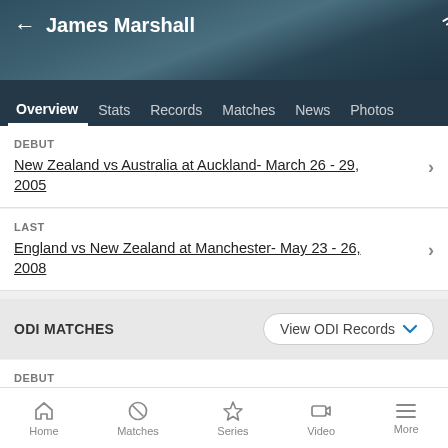James Marshall
Overview  Stats  Records  Matches  News  Photos
DEBUT
New Zealand vs Australia at Auckland- March 26 - 29, 2005
LAST
England vs New Zealand at Manchester- May 23 - 26, 2008
ODI MATCHES
DEBUT
New Zealand vs Australia at Auckland- February 26, 2005
LAST
Home  Matches  Series  Video  More